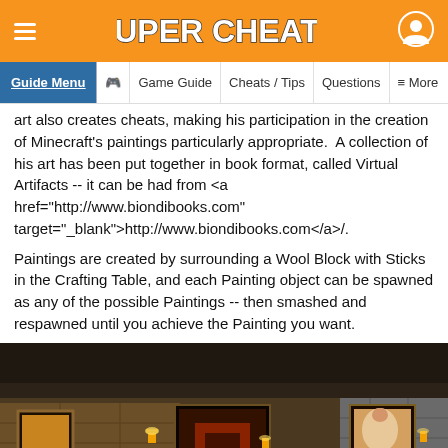SUPER CHEATS
Guide Menu | Game Guide | Cheats / Tips | Questions | More
art also creates cheats, making his participation in the creation of Minecraft's paintings particularly appropriate.&nbsp; A collection of his art has been put together in book format, called Virtual Artifacts -- it can be had from <a href="http://www.biondibooks.com" target="_blank">http://www.biondibooks.com</a>/.
Paintings are created by surrounding a Wool Block with Sticks in the Crafting Table, and each Painting object can be spawned as any of the possible Paintings -- then smashed and respawned until you achieve the Painting you want.
[Figure (screenshot): Minecraft game screenshot showing an interior room with paintings on the walls, wooden planks, lanterns, and stone architecture. Dark ceiling visible above.]